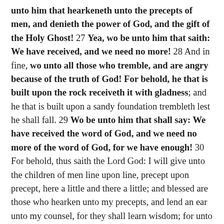unto him that hearkeneth unto the precepts of men, and denieth the power of God, and the gift of the Holy Ghost!  27 Yea, wo be unto him that saith: We have received, and we need no more!  28 And in fine, wo unto all those who tremble, and are angry because of the truth of God! For behold, he that is built upon the rock receiveth it with gladness; and he that is built upon a sandy foundation trembleth lest he shall fall.  29 Wo be unto him that shall say: We have received the word of God, and we need no more of the word of God, for we have enough!  30 For behold, thus saith the Lord God: I will give unto the children of men line upon line, precept upon precept, here a little and there a little; and blessed are those who hearken unto my precepts, and lend an ear unto my counsel, for they shall learn wisdom; for unto him that receiveth I will give more; and from them that shall